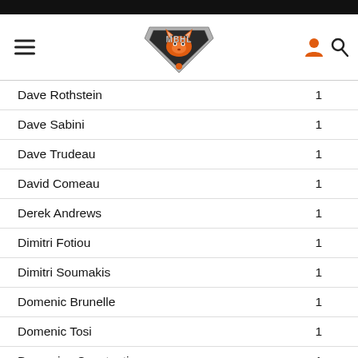[Figure (logo): MBHL hockey league logo with fox/wolf mascot in orange and grey]
| Name | Value |
| --- | --- |
| Dave Rothstein | 1 |
| Dave Sabini | 1 |
| Dave Trudeau | 1 |
| David Comeau | 1 |
| Derek Andrews | 1 |
| Dimitri Fotiou | 1 |
| Dimitri Soumakis | 1 |
| Domenic Brunelle | 1 |
| Domenic Tosi | 1 |
| Domenico Constantino | 1 |
| Dominic Bernard | 1 |
| Dominic Provost-Jarry | 1 |
| Dylan Drake | 1 |